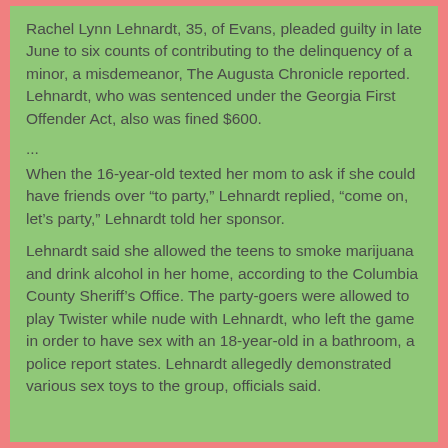Rachel Lynn Lehnardt, 35, of Evans, pleaded guilty in late June to six counts of contributing to the delinquency of a minor, a misdemeanor, The Augusta Chronicle reported. Lehnardt, who was sentenced under the Georgia First Offender Act, also was fined $600.
...
When the 16-year-old texted her mom to ask if she could have friends over “to party,” Lehnardt replied, “come on, let’s party,” Lehnardt told her sponsor.
Lehnardt said she allowed the teens to smoke marijuana and drink alcohol in her home, according to the Columbia County Sheriff’s Office. The party-goers were allowed to play Twister while nude with Lehnardt, who left the game in order to have sex with an 18-year-old in a bathroom, a police report states. Lehnardt allegedly demonstrated various sex toys to the group, officials said.